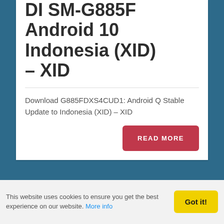DI SM-G885F Android 10 Indonesia (XID) – XID
Download G885FDXS4CUD1: Android Q Stable Update to Indonesia (XID) – XID
READ MORE
Download
This website uses cookies to ensure you get the best experience on our website. More info
Got it!